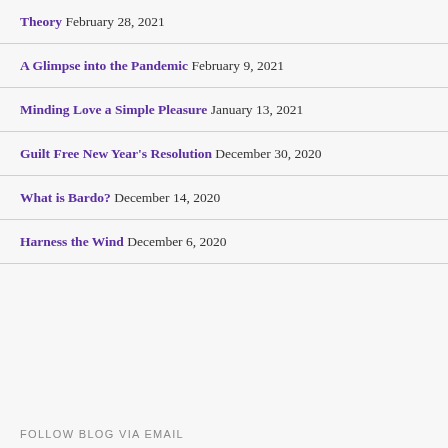Theory February 28, 2021
A Glimpse into the Pandemic February 9, 2021
Minding Love a Simple Pleasure January 13, 2021
Guilt Free New Year's Resolution December 30, 2020
What is Bardo? December 14, 2020
Harness the Wind December 6, 2020
FOLLOW BLOG VIA EMAIL